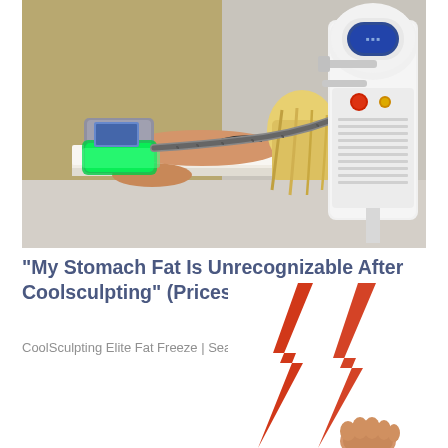[Figure (photo): A person lying on a treatment bed receiving a CoolSculpting/cryolipolysis fat-freezing procedure. A device with a green glowing applicator is attached to the person's body. A large white medical machine with a touchscreen display, red emergency button, and hose attachments is visible on the right side of the room.]
"My Stomach Fat Is Unrecognizable After Coolsculpting" (Prices Might Surprise You)
CoolSculpting Elite Fat Freeze | Search Ads
[Figure (illustration): Red lightning bolt / electric spark illustration with a hand holding something at the bottom, partially visible at the bottom right of the page.]